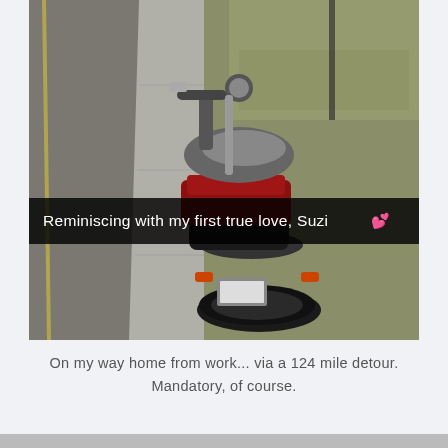[Figure (photo): Rear view of a motorcycle (Suzuki) parked on the side of a road with grass and trees in background. A Snapchat-style caption bar overlays the bottom of the image reading: 'Reminiscing with my first true love, Suzi 💕']
On my way home from work... via a 124 mile detour. Mandatory, of course.